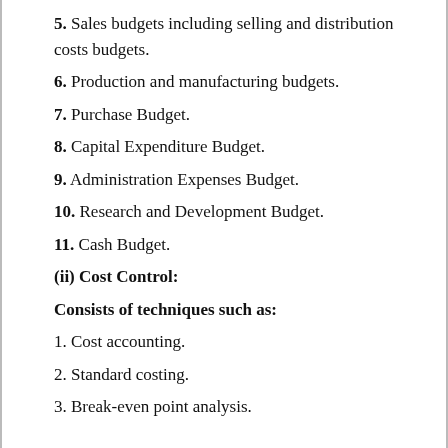5. Sales budgets including selling and distribution costs budgets.
6. Production and manufacturing budgets.
7. Purchase Budget.
8. Capital Expenditure Budget.
9. Administration Expenses Budget.
10. Research and Development Budget.
11. Cash Budget.
(ii) Cost Control:
Consists of techniques such as:
1. Cost accounting.
2. Standard costing.
3. Break-even point analysis.